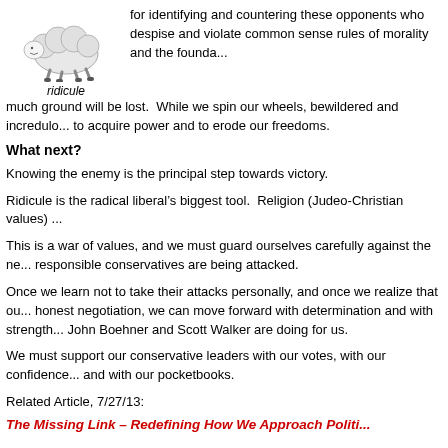[Figure (illustration): Cartoon illustration of a sheep lying down, appearing dejected or beaten, representing ridicule]
ridicule
for identifying and countering these opponents who despise and violate common sense rules of morality and the founda...
much ground will be lost.  While we spin our wheels, bewildered and incredulo... to acquire power and to erode our freedoms.
What next?
Knowing the enemy is the principal step towards victory.
Ridicule is the radical liberal’s biggest tool.  Religion (Judeo-Christian values)...
This is a war of values, and we must guard ourselves carefully against the ne... responsible conservatives are being attacked.
Once we learn not to take their attacks personally, and once we realize that ou... honest negotiation, we can move forward with determination and with strength... John Boehner and Scott Walker are doing for us.
We must support our conservative leaders with our votes, with our confidence... and with our pocketbooks.
Related Article, 7/27/13:
The Missing Link – Redefining How We Approach Politi...